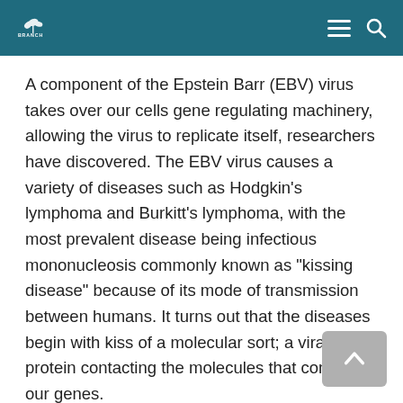BRANCH
A component of the Epstein Barr (EBV) virus takes over our cells gene regulating machinery, allowing the virus to replicate itself, researchers have discovered. The EBV virus causes a variety of diseases such as Hodgkin’s lymphoma and Burkitt’s lymphoma, with the most prevalent disease being infectious mononucleosis commonly known as “kissing disease” because of its mode of transmission between humans. It turns out that the diseases begin with kiss of a molecular sort; a viral protein contacting the molecules that control our genes.